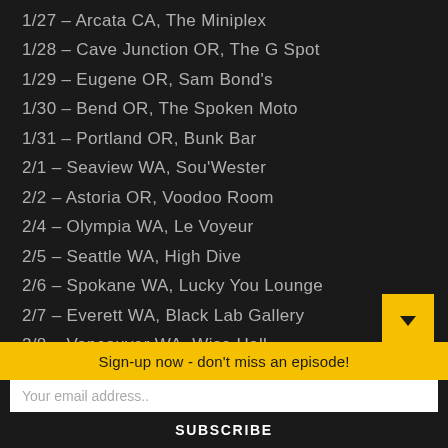1/27 – Arcata CA, The Miniplex
1/28 – Cave Junction OR, The G Spot
1/29 – Eugene OR, Sam Bond's
1/30 – Bend OR, The Spoken Moto
1/31 – Portland OR, Bunk Bar
2/1 – Seaview WA, Sou'Wester
2/2 – Astoria OR, Voodoo Room
2/4 – Olympia WA, Le Voyeur
2/5 – Seattle WA, High Dive
2/6 – Spokane WA, Lucky You Lounge
2/7 – Everett WA, Black Lab Gallery
2/8 – Vancouver WA, Wise Hall
2/9 – Port Townsend WA, Tunnel Tavern
Sign-up now - don't miss an episode!
Your email address..
SUBSCRIBE